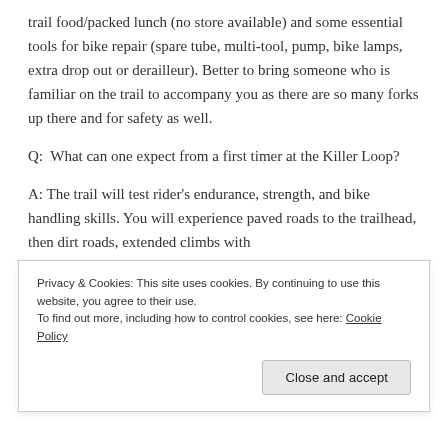trail food/packed lunch (no store available) and some essential tools for bike repair (spare tube, multi-tool, pump, bike lamps, extra drop out or derailleur). Better to bring someone who is familiar on the trail to accompany you as there are so many forks up there and for safety as well.
Q:  What can one expect from a first timer at the Killer Loop?
A: The trail will test rider's endurance, strength, and bike handling skills. You will experience paved roads to the trailhead, then dirt roads, extended climbs with...
Privacy & Cookies: This site uses cookies. By continuing to use this website, you agree to their use.
To find out more, including how to control cookies, see here: Cookie Policy
Close and accept